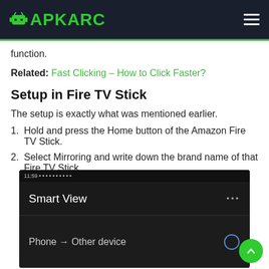APKARC
function.
Related: Fast Clicking – How to Click Faster?
Setup in Fire TV Stick
The setup is exactly what was mentioned earlier.
1. Hold and press the Home button of the Amazon Fire TV Stick.
2. Select Mirroring and write down the brand name of that Fire TV Stick.
[Figure (screenshot): Android Smart View screen showing 'Smart View' header with three-dot menu and 'Phone → Other device' option below]